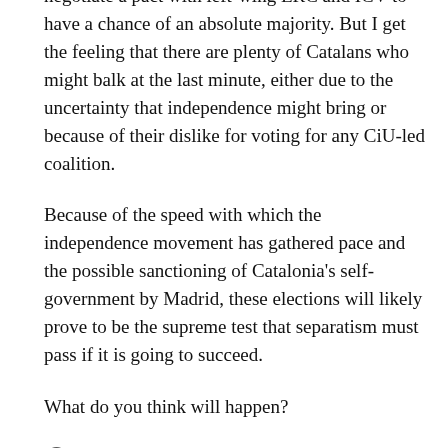negotiate a pact with left-wing ERC and ICV to have a chance of an absolute majority. But I get the feeling that there are plenty of Catalans who might balk at the last minute, either due to the uncertainty that independence might bring or because of their dislike for voting for any CiU-led coalition.
Because of the speed with which the independence movement has gathered pace and the possible sanctioning of Catalonia's self-government by Madrid, these elections will likely prove to be the supreme test that separatism must pass if it is going to succeed.
What do you think will happen?
View all 10 comments